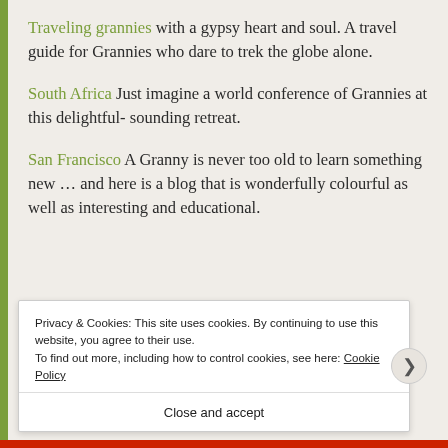Traveling grannies with a gypsy heart and soul. A travel guide for Grannies who dare to trek the globe alone.
South Africa Just imagine a world conference of Grannies at this delightful- sounding retreat.
San Francisco A Granny is never too old to learn something new ... and here is a blog that is wonderfully colourful as well as interesting and educational.
Privacy & Cookies: This site uses cookies. By continuing to use this website, you agree to their use.
To find out more, including how to control cookies, see here: Cookie Policy
Close and accept